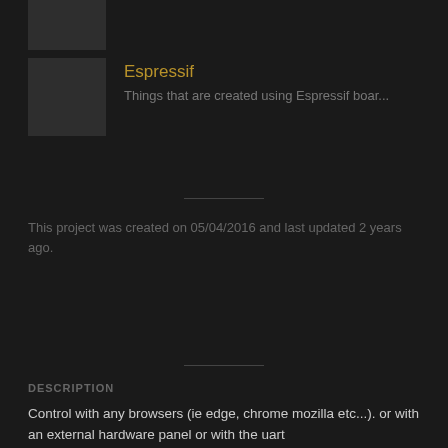[Figure (photo): Thumbnail image (partially visible at top)]
Espressif
Things that are created using Espressif boar...
This project was created on 05/04/2016 and last updated 2 years ago.
DESCRIPTION
Control with any browsers (ie edge, chrome mozilla etc...). or with an external hardware panel or with the uart